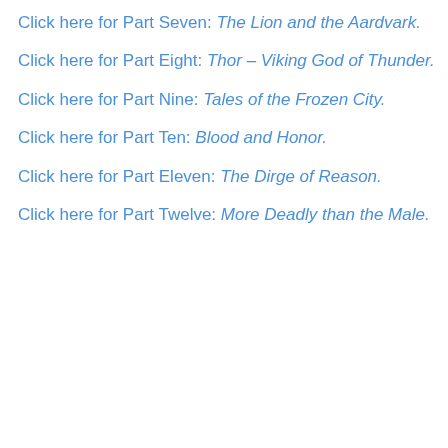Click here for Part Seven: The Lion and the Aardvark.
Click here for Part Eight: Thor – Viking God of Thunder.
Click here for Part Nine: Tales of the Frozen City.
Click here for Part Ten: Blood and Honor.
Click here for Part Eleven: The Dirge of Reason.
Click here for Part Twelve: More Deadly than the Male.